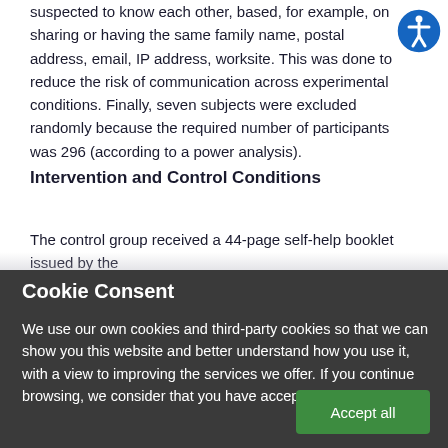suspected to know each other, based, for example, on sharing or having the same family name, postal address, email, IP address, worksite. This was done to reduce the risk of communication across experimental conditions. Finally, seven subjects were excluded randomly because the required number of participants was 296 (according to a power analysis).
Intervention and Control Conditions
The control group received a 44-page self-help booklet issued by the
Cookie Consent
We use our own cookies and third-party cookies so that we can show you this website and better understand how you use it, with a view to improving the services we offer. If you continue browsing, we consider that you have accepted the cookies.